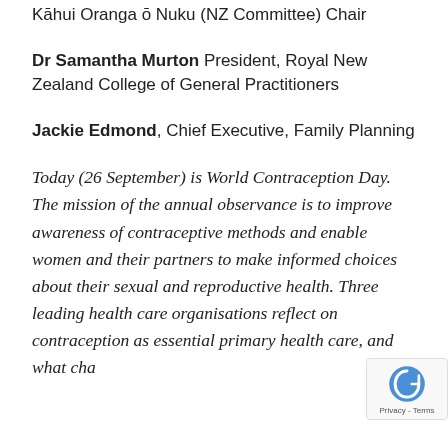Kāhui Oranga ō Nuku (NZ Committee) Chair
Dr Samantha Murton President, Royal New Zealand College of General Practitioners
Jackie Edmond, Chief Executive, Family Planning
Today (26 September) is World Contraception Day. The mission of the annual observance is to improve awareness of contraceptive methods and enable women and their partners to make informed choices about their sexual and reproductive health. Three leading health care organisations reflect on contraception as essential primary health care, and what changes could make contraception more accessible in